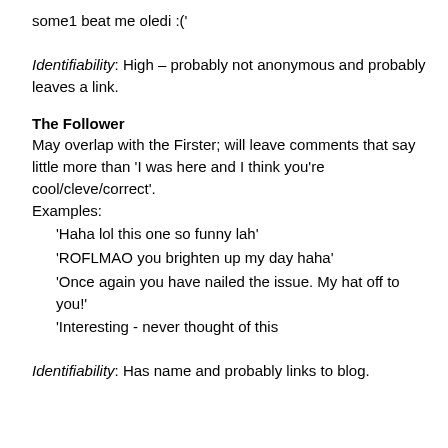some1 beat me oledi :('
Identifiability: High – probably not anonymous and probably leaves a link.
The Follower
May overlap with the Firster; will leave comments that say little more than 'I was here and I think you're cool/cleve/correct'.
Examples:
'Haha lol this one so funny lah'
'ROFLMAO you brighten up my day haha'
'Once again you have nailed the issue. My hat off to you!'
'Interesting - never thought of this
Identifiability: Has name and probably links to blog.